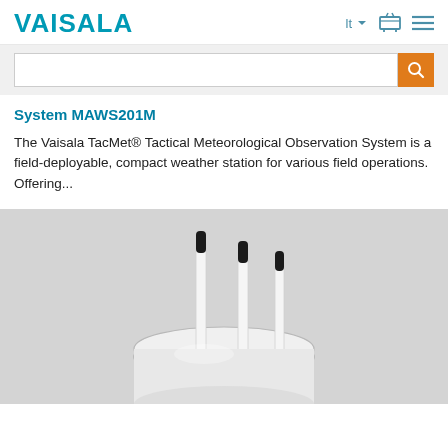VAISALA
System MAWS201M
The Vaisala TacMet® Tactical Meteorological Observation System is a field-deployable, compact weather station for various field operations. Offering...
[Figure (photo): Close-up photo of the Vaisala TacMet MAWS201M weather station device showing white cylindrical body with two upward-pointing sensor probes (white rods with black tips) on a grey background.]